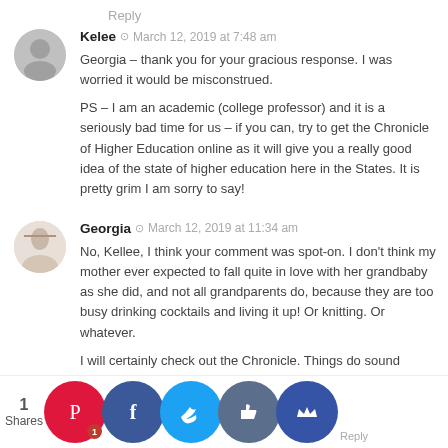Reply
Kelee  ©  March 12, 2019 at 7:48 am
Georgia – thank you for your gracious response. I was worried it would be misconstrued.

PS – I am an academic (college professor) and it is a seriously bad time for us – if you can, try to get the Chronicle of Higher Education online as it will give you a really good idea of the state of higher education here in the States. It is pretty grim I am sorry to say!
Georgia  ©  March 12, 2019 at 11:34 am
No, Kellee, I think your comment was spot-on. I don't think my mother ever expected to fall quite in love with her grandbaby as she did, and not all grandparents do, because they are too busy drinking cocktails and living it up! Or knitting. Or whatever.

I will certainly check out the Chronicle. Things do sound awfully grim. Take care!
1
Shares
Reply